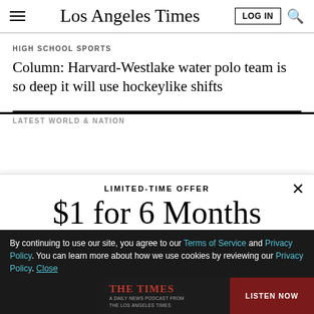Los Angeles Times
HIGH SCHOOL SPORTS
Column: Harvard-Westlake water polo team is so deep it will use hockeylike shifts
LATEST WORLD & NATION
LIMITED-TIME OFFER
$1 for 6 Months
SUBSCRIBE NOW
By continuing to use our site, you agree to our Terms of Service and Privacy Policy. You can learn more about how we use cookies by reviewing our Privacy Policy. Close